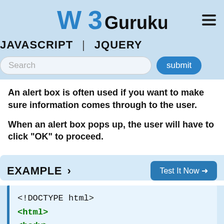W3Gurukul
JAVASCRIPT | JQUERY
An alert box is often used if you want to make sure information comes through to the user.
When an alert box pops up, the user will have to click "OK" to proceed.
EXAMPLE ›
[Figure (screenshot): Code example box showing HTML code: <!DOCTYPE html>, <html>, <body>]